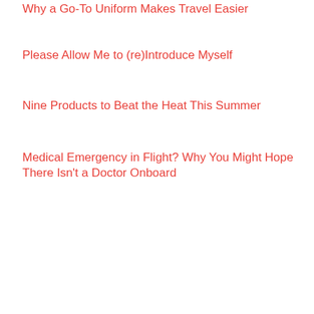Why a Go-To Uniform Makes Travel Easier
Please Allow Me to (re)Introduce Myself
Nine Products to Beat the Heat This Summer
Medical Emergency in Flight? Why You Might Hope There Isn't a Doctor Onboard